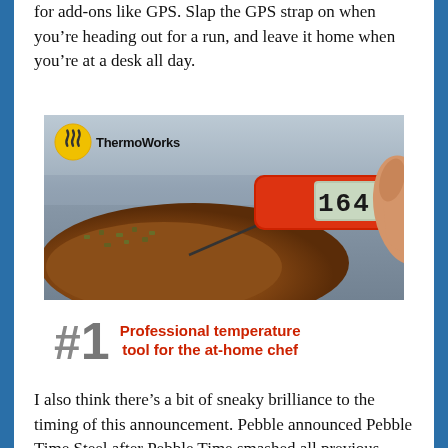for add-ons like GPS. Slap the GPS strap on when you're heading out for a run, and leave it home when you're at a desk all day.
[Figure (photo): ThermoWorks advertisement showing a red instant-read thermometer probe inserted into a roasted meat, with a digital display reading 164.7. A yellow circular logo with heat wave lines and the text ThermoWorks appears in the upper left. Below the photo is text reading #1 Professional temperature tool for the at-home chef.]
I also think there's a bit of sneaky brilliance to the timing of this announcement. Pebble announced Pebble Time Steel after Pebble Time smashed all previous Kickstarter records, and